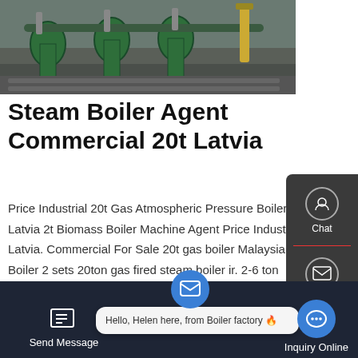[Figure (photo): Industrial steam boiler equipment photo showing green-painted pipes, valves, and boiler components in a factory setting]
Steam Boiler Agent Commercial 20t Latvia
Price Industrial 20t Gas Atmospheric Pressure Boiler Latvia 2t Biomass Boiler Machine Agent Price Industrial Latvia. Commercial For Sale 20t gas boiler Malaysia -Boiler 2 sets 20ton gas fired steam boiler ir. 2-6 ton steam boilers Small Coal Fired Boiler Fire Tube 5
Get a Quote
[Figure (screenshot): Right sidebar with Chat, Email, TOP navigation button, and Contact icons on dark background]
[Figure (screenshot): Bottom toolbar with Send Message button, chat bubble saying 'Hello, Helen here, from Boiler factory', email icon, and Inquiry Online button]